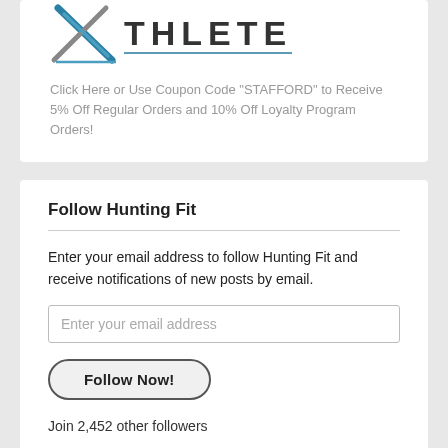[Figure (logo): Xthlete brand logo with stylized X in blue/grey and the text ATHLETE in dark caps with a blue underline]
Click Here or Use Coupon Code "STAFFORD" to Receive 5% Off Regular Orders and 10% Off Loyalty Program Orders!
Follow Hunting Fit
Enter your email address to follow Hunting Fit and receive notifications of new posts by email.
Enter your email address
Follow Now!
Join 2,452 other followers